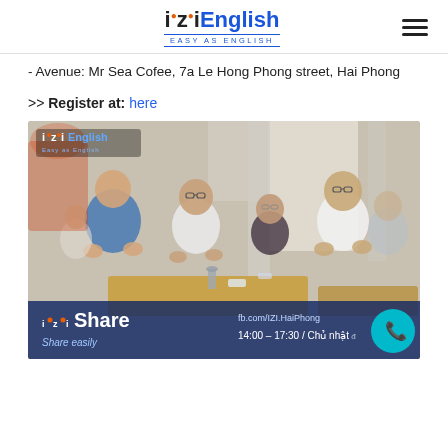iziEnglish - Easy as English
- Avenue: Mr Sea Cofee, 7a Le Hong Phong street, Hai Phong
>> Register at: here
[Figure (photo): Group of young students sitting around tables in a cafe-style classroom, clapping and engaging with each other. The iziShare logo and event details are overlaid: fb.com/IZI.HaiPhong, 14:00 - 17:30 / Chủ nhật.]